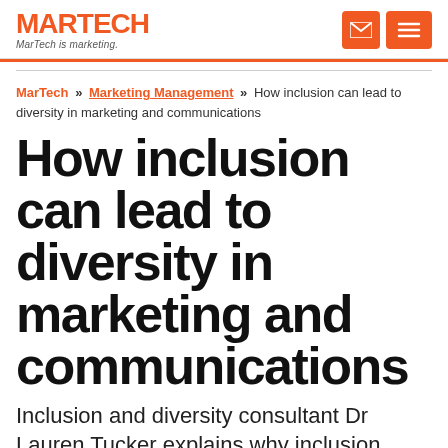MARTECH MarTech is marketing.
MarTech » Marketing Management » How inclusion can lead to diversity in marketing and communications
How inclusion can lead to diversity in marketing and communications
Inclusion and diversity consultant Dr Lauren Tucker explains why inclusion comes first.